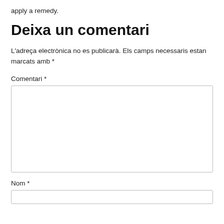apply a remedy.
Deixa un comentari
L'adreça electrònica no es publicarà. Els camps necessaris estan marcats amb *
Comentari *
Nom *